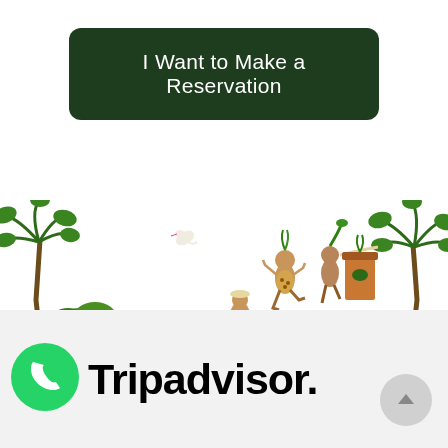I Want to Make a Reservation
[Figure (illustration): Mesoamerican/Mayan themed decorative illustration showing jungle scene with palm trees, tropical plants, and stylized human figures dancing and playing instruments, with a Greek key border pattern at the bottom]
[Figure (logo): WhatsApp green circle icon with white phone handset logo]
Tripadvisor.